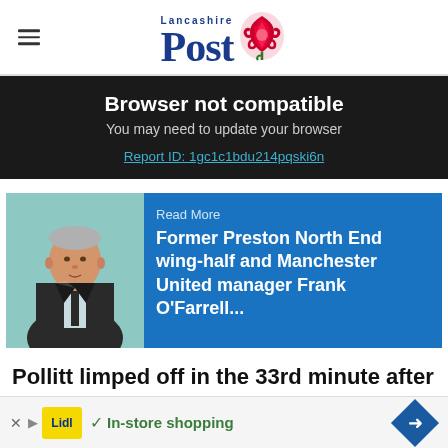Lancashire Post
Browser not compatible
You may need to update your browser
Report ID: 1gc1c1bdu214pqski6n
[Figure (photo): Read More card: photo of elderly man in suit on left, blue background with text on right: 'Read More / Former Preston North End wing-half and Manchester United manager Frank O'Farrell...']
Pollitt limped off in the 33rd minute after
landi... that there... s